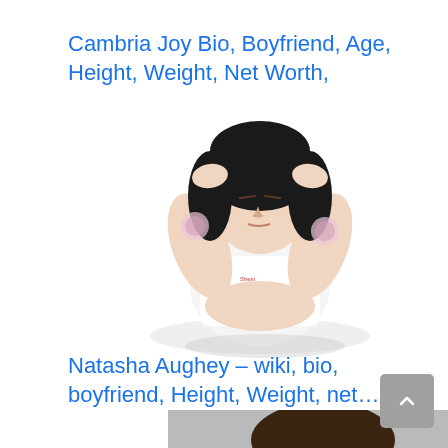Cambria Joy Bio, Boyfriend, Age, Height, Weight, Net Worth,
[Figure (photo): Young woman with dark curly hair, tattoos on arms, lying back with hands behind her head, wearing a white crop top/sports bra]
Natasha Aughey – wiki, bio, boyfriend, Height, Weight, net…
[Figure (photo): Close-up portrait of a young woman with a nose ring, looking toward camera, gray background]